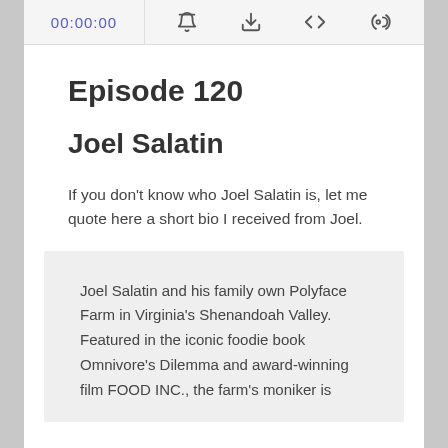00:00:00
Episode 120
Joel Salatin
If you don't know who Joel Salatin is, let me quote here a short bio I received from Joel.
Joel Salatin and his family own Polyface Farm in Virginia's Shenandoah Valley. Featured in the iconic foodie book Omnivore's Dilemma and award-winning film FOOD INC., the farm's moniker is